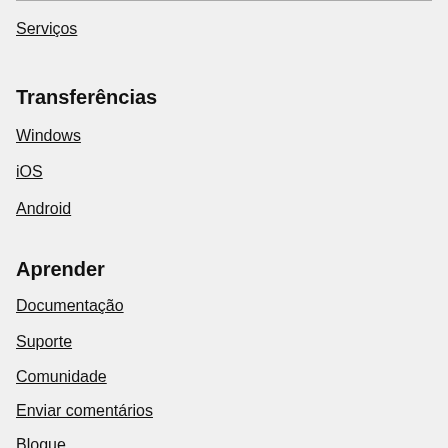Serviços
Transferências
Windows
iOS
Android
Aprender
Documentação
Suporte
Comunidade
Enviar comentários
Blogue
Parceiros